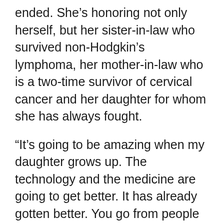ended. She's honoring not only herself, but her sister-in-law who survived non-Hodgkin's lymphoma, her mother-in-law who is a two-time survivor of cervical cancer and her daughter for whom she has always fought.
“It’s going to be amazing when my daughter grows up. The technology and the medicine are going to get better. It has already gotten better. You go from people dying from breast cancer — and I know they still do — but there are so many more survivors. So, this ride is going to mean a lot.”
Diana has already started to train and dream about reaching the finish line at Niagara Falls.